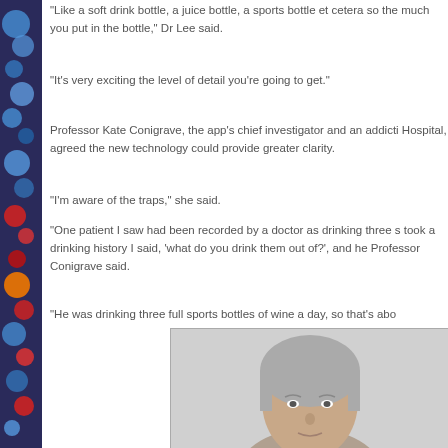“Like a soft drink bottle, a juice bottle, a sports bottle et cetera so the much you put in the bottle,” Dr Lee said.
“It’s very exciting the level of detail you’re going to get.”
Professor Kate Conigrave, the app’s chief investigator and an addicti Hospital, agreed the new technology could provide greater clarity.
“I’m aware of the traps,” she said.
“One patient I saw had been recorded by a doctor as drinking three s took a drinking history I said, ‘what do you drink them out of?’, and he Professor Conigrave said.
“He was drinking three full sports bottles of wine a day, so that’s abo
[Figure (photo): Headshot photo of a woman with short grey/silver hair against a light grey background, cropped to show face and top of shoulders.]